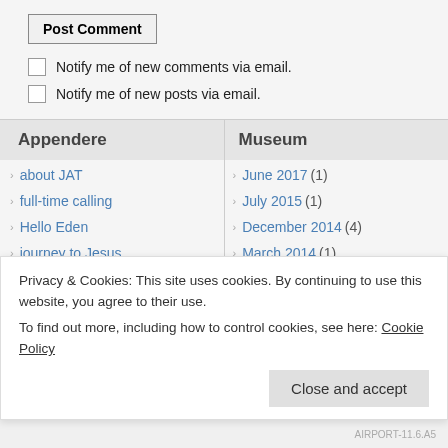Post Comment
Notify me of new comments via email.
Notify me of new posts via email.
Appendere
Museum
about JAT
June 2017 (1)
full-time calling
July 2015 (1)
Hello Eden
December 2014 (4)
journey to Jesus
March 2014 (1)
she said, “Yes!”
July 2013 (1)
this is R-AGE
June 2013 (1)
Privacy & Cookies: This site uses cookies. By continuing to use this website, you agree to their use. To find out more, including how to control cookies, see here: Cookie Policy
Close and accept
AIRPORT-11.6.A5